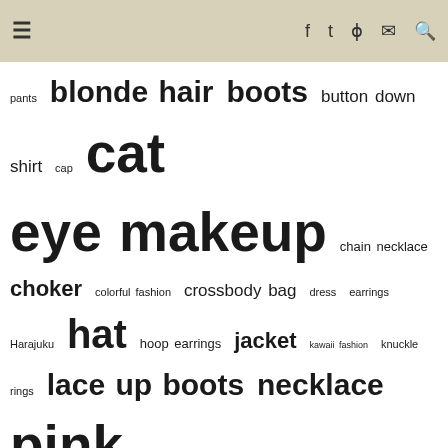≡  f  t  ⊃  ✉  🔍
[Figure (infographic): Tag cloud with fashion-related keywords in varying sizes indicating relative frequency. Larger tags: cat eye makeup, platform shoes, red lipstick, sneakers, sunglasses, pink hair, vintage, hat, necklace, lace up boots; medium tags: blonde hair, boots, button down shirt, choker, crossbody bag, jacket, shorts, sling bag, tote bag, resale, knuckle rings; small tags: pants, cap, chain necklace, colorful fashion, dress, earrings, Harajuku, hoop earrings, kawaii fashion, platform boots, ring, rings, shoes, short bangs, silver rings, skirt, t-shirt, twin tails, wide leg pants]